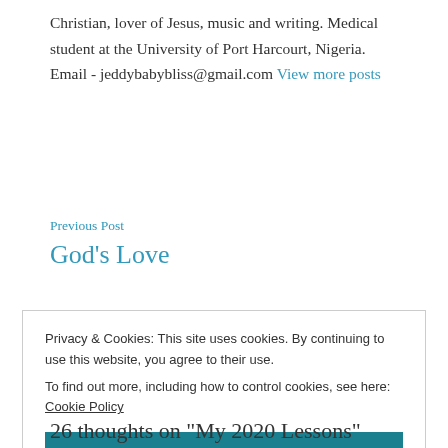Christian, lover of Jesus, music and writing. Medical student at the University of Port Harcourt, Nigeria. Email - jeddybabybliss@gmail.com View more posts
Previous Post
God's Love
Privacy & Cookies: This site uses cookies. By continuing to use this website, you agree to their use.
To find out more, including how to control cookies, see here: Cookie Policy
Close and accept
26 thoughts on "My 2020 Lessons"